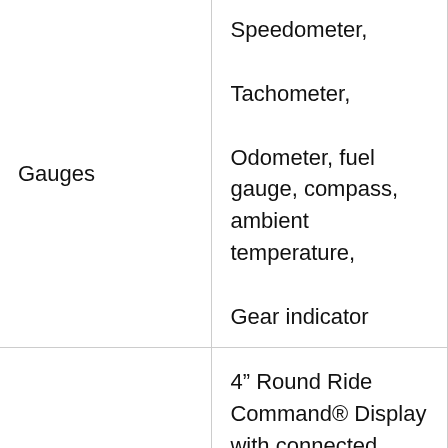| Gauges | Speedometer, Tachometer, Odometer, fuel gauge, compass, ambient temperature, Gear indicator |
|  | 4” Round Ride Command® Display with connected services such as real time traffic weather and traffic overlay included for a complementary 1- |